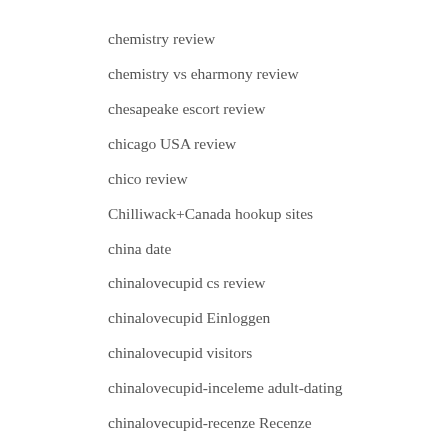chemistry review
chemistry vs eharmony review
chesapeake escort review
chicago USA review
chico review
Chilliwack+Canada hookup sites
china date
chinalovecupid cs review
chinalovecupid Einloggen
chinalovecupid visitors
chinalovecupid-inceleme adult-dating
chinalovecupid-recenze Recenze
chodit s nekym nad 60 crossdresser seznamovaci aplikace zdarma
chodit s nekym ve 40 crossdresser seznamovaci